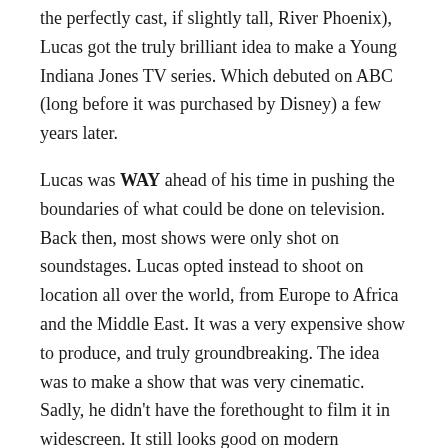the perfectly cast, if slightly tall, River Phoenix), Lucas got the truly brilliant idea to make a Young Indiana Jones TV series. Which debuted on ABC (long before it was purchased by Disney) a few years later.
Lucas was WAY ahead of his time in pushing the boundaries of what could be done on television. Back then, most shows were only shot on soundstages. Lucas opted instead to shoot on location all over the world, from Europe to Africa and the Middle East. It was a very expensive show to produce, and truly groundbreaking. The idea was to make a show that was very cinematic. Sadly, he didn't have the forethought to film it in widescreen. It still looks good on modern televisions except for the old school 4:3 ratio.
Lucas wanted to make a show that was both entertaining and educational. With extra emphasis on the educational part. In each episode, as Young Indy travels the world, he encounters numerous historical figures*. The hope was that kids would learn a bit about these people and the events that shaped our world.